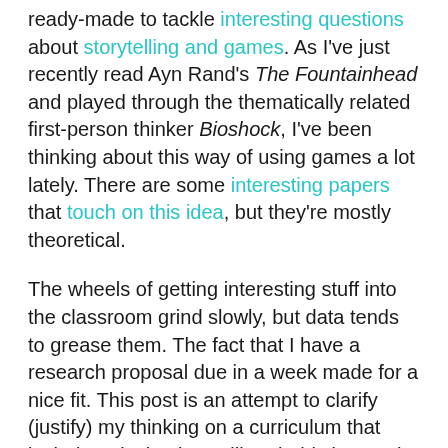ready-made to tackle interesting questions about storytelling and games. As I've just recently read Ayn Rand's The Fountainhead and played through the thematically related first-person thinker Bioshock, I've been thinking about this way of using games a lot lately. There are some interesting papers that touch on this idea, but they're mostly theoretical.
The wheels of getting interesting stuff into the classroom grind slowly, but data tends to grease them. The fact that I have a research proposal due in a week made for a nice fit. This post is an attempt to clarify (justify) my thinking on a curriculum that includes Bioshock. It will probably be much, much longer and more detailed than is necessary for the proposal, but who knows? Maybe someday I'll get to teach it.